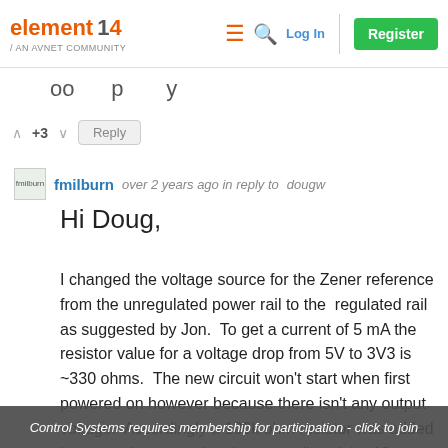element14 / AN AVNET COMMUNITY | Log In | Register
∧ +3 ∨   Reply
fmilburn  over 2 years ago in reply to dougw
Hi Doug,
I changed the voltage source for the Zener reference from the unregulated power rail to the  regulated rail as suggested by Jon.  To get a current of 5 mA the resistor value for a voltage drop from 5V to 3V3 is ~330 ohms.  The new circuit won't start when first powered on however because there isn't any output voltage.  Accordingly a 100k ohm resistor was added between the unregulated power rail and the 12v to get it started.  No analysis was done here, just tried a 100k
Control Systems requires membership for participation - click to join